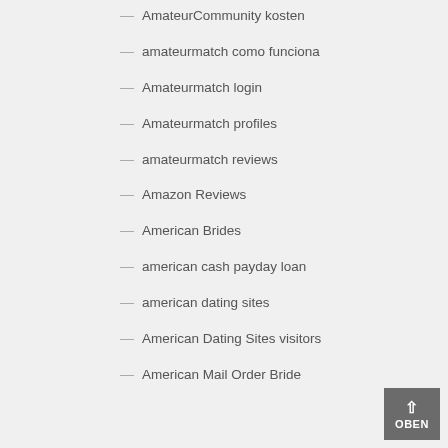— AmateurCommunity kosten
— amateurmatch como funciona
— Amateurmatch login
— Amateurmatch profiles
— amateurmatch reviews
— Amazon Reviews
— American Brides
— american cash payday loan
— american dating sites
— American Dating Sites visitors
— American Mail Order Bride